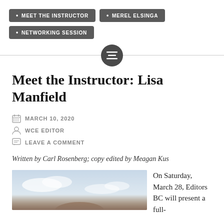MEET THE INSTRUCTOR
MEREL ELSINGA
NETWORKING SESSION
Meet the Instructor: Lisa Manfield
MARCH 10, 2020
WCE EDITOR
LEAVE A COMMENT
Written by Carl Rosenberg; copy edited by Meagan Kus
[Figure (photo): Photo of Lisa Manfield against a sky background]
On Saturday, March 28, Editors BC will present a full-